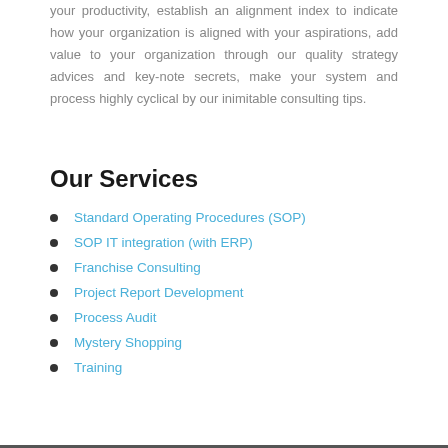your productivity, establish an alignment index to indicate how your organization is aligned with your aspirations, add value to your organization through our quality strategy advices and key-note secrets, make your system and process highly cyclical by our inimitable consulting tips.
Our Services
Standard Operating Procedures (SOP)
SOP IT integration (with ERP)
Franchise Consulting
Project Report Development
Process Audit
Mystery Shopping
Training